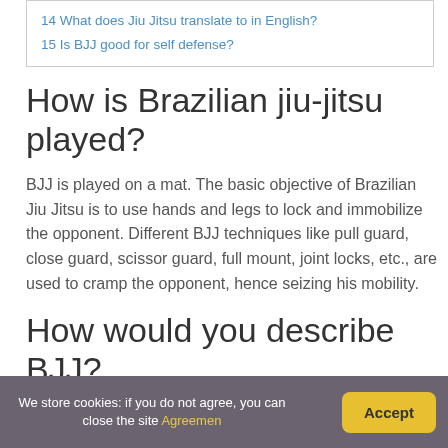14 What does Jiu Jitsu translate to in English?
15 Is BJJ good for self defense?
How is Brazilian jiu-jitsu played?
BJJ is played on a mat. The basic objective of Brazilian Jiu Jitsu is to use hands and legs to lock and immobilize the opponent. Different BJJ techniques like pull guard, close guard, scissor guard, full mount, joint locks, etc., are used to cramp the opponent, hence seizing his mobility.
How would you describe BJJ?
We store cookies: if you do not agree, you can close the site Agreemen